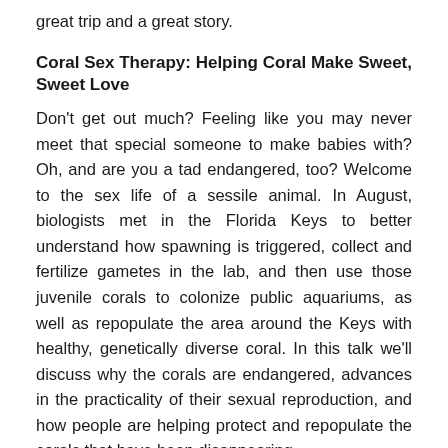great trip and a great story.
Coral Sex Therapy: Helping Coral Make Sweet, Sweet Love
Don't get out much? Feeling like you may never meet that special someone to make babies with? Oh, and are you a tad endangered, too? Welcome to the sex life of a sessile animal. In August, biologists met in the Florida Keys to better understand how spawning is triggered, collect and fertilize gametes in the lab, and then use those juvenile corals to colonize public aquariums, as well as repopulate the area around the Keys with healthy, genetically diverse coral. In this talk we'll discuss why the corals are endangered, advances in the practicality of their sexual reproduction, and how people are helping protect and repopulate the corals that have been disappearing.
Steinhart and Science in the Philippines
Researchers from the California Academy of Sciences have been visiting an area called the Verde Island Passage off the coast of Batangas Province on Luzon Island, Philippines for almost 20